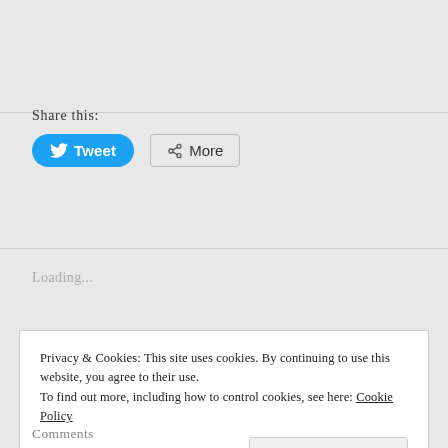Share this:
[Figure (other): Tweet button (blue rounded button with Twitter bird icon and 'Tweet' label) and More button (outline button with share icon and 'More' label)]
Loading...
Privacy & Cookies: This site uses cookies. By continuing to use this website, you agree to their use.
To find out more, including how to control cookies, see here: Cookie Policy
Close and accept
Comments